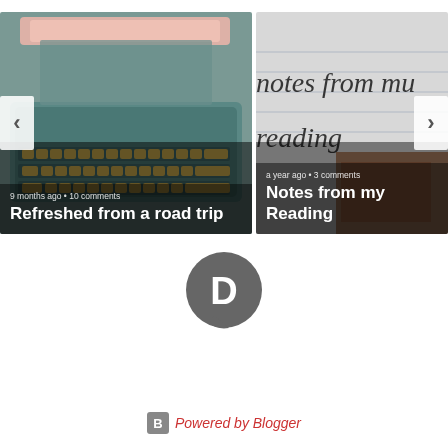[Figure (screenshot): Blog post carousel card showing a teal vintage typewriter photo with text overlay: '9 months ago • 10 comments' and title 'Refreshed from a road trip'. Left navigation arrow visible.]
[Figure (screenshot): Blog post carousel card showing handwritten text 'notes from my reading' on lined paper background with text overlay: 'a year ago • 3 comments' and title 'Notes from my Reading'. Right navigation arrow visible.]
[Figure (logo): Disqus logo: dark grey speech bubble with white letter D inside]
Powered by Blogger